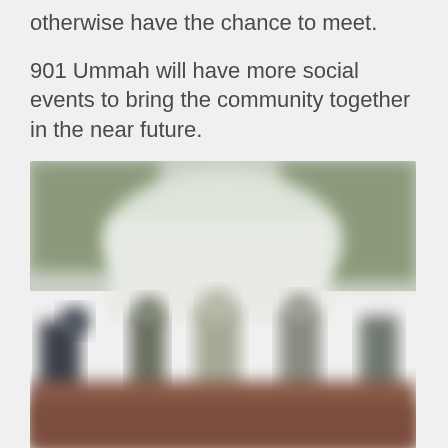otherwise have the chance to meet.
901 Ummah will have more social events to bring the community together in the near future.
[Figure (photo): A blurred outdoor photo showing a group of people gathered together, possibly at a social event. The background shows trees and a light-colored structure. People appear to be standing and sitting in various areas.]
Photo by Uzair Ahmed
Attendees rest in between games